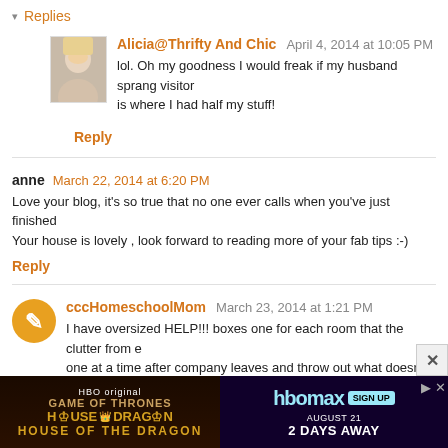▾ Replies
Alicia@Thrifty And Chic — April 4, 2014 at 10:05 PM
lol. Oh my goodness I would freak if my husband sprang visitors on me, and that is where I had half my stuff!
Reply
anne — March 22, 2014 at 6:20 PM
Love your blog, it's so true that no one ever calls when you've just finished cleaning! Your house is lovely , look forward to reading more of your fab tips :-)
Reply
cccHomeschoolMom — March 23, 2014 at 1:21 PM
I have oversized HELP!!! boxes one for each room that the clutter from each room, one at a time after company leaves and throw out what doesn't need to be there. Also one for dirty dishes that there isn't time to wash or put in the dishw... downstairs and they are out of site until needed. (And Yes, I do the c...
[Figure (advertisement): HBO Max / House of the Dragon advertisement banner at bottom of page]